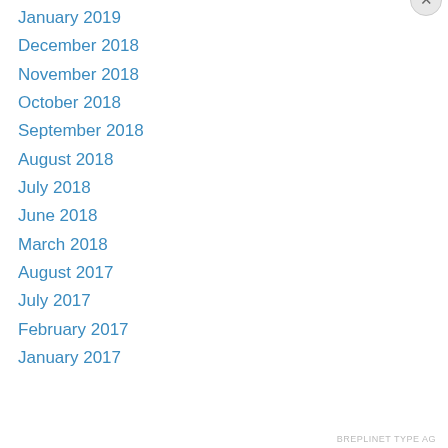January 2019
December 2018
November 2018
October 2018
September 2018
August 2018
July 2018
June 2018
March 2018
August 2017
July 2017
February 2017
January 2017
Privacy & Cookies: This site uses cookies. By continuing to use this website, you agree to their use.
To find out more, including how to control cookies, see here: Cookie Policy
Close and accept